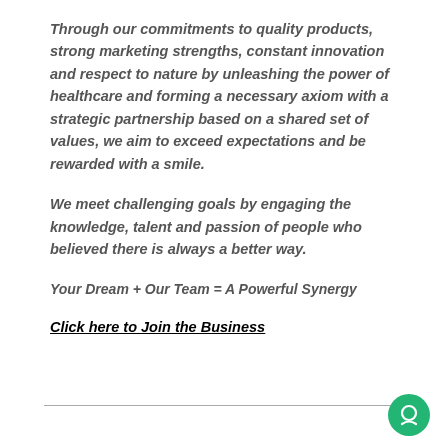Through our commitments to quality products, strong marketing strengths, constant innovation and respect to nature by unleashing the power of healthcare and forming a necessary axiom with a strategic partnership based on a shared set of values, we aim to exceed expectations and be rewarded with a smile.
We meet challenging goals by engaging the knowledge, talent and passion of people who believed there is always a better way.
Your Dream + Our Team = A Powerful Synergy
Click here to Join the Business